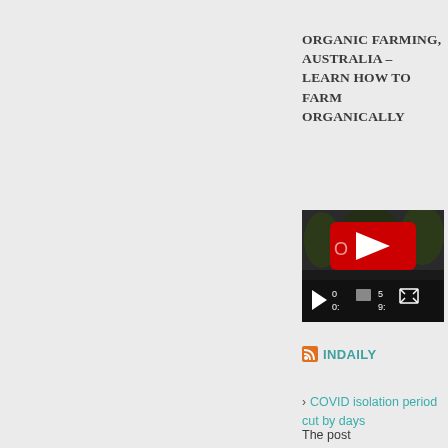ORGANIC FARMING, AUSTRALIA – LEARN HOW TO FARM ORGANICALLY
[Figure (screenshot): YouTube video thumbnail showing a red play button area and video controls at the bottom with play button, timer showing 0:0 and 5:9, and fullscreen button]
INDAILY
COVID isolation period cut by days
The post